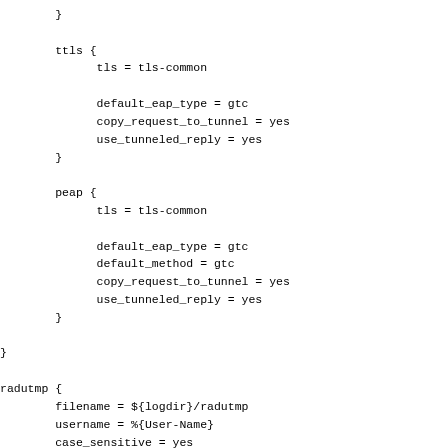}

        ttls {
              tls = tls-common

              default_eap_type = gtc
              copy_request_to_tunnel = yes
              use_tunneled_reply = yes
        }

        peap {
              tls = tls-common

              default_eap_type = gtc
              default_method = gtc
              copy_request_to_tunnel = yes
              use_tunneled_reply = yes
        }

}

radutmp {
        filename = ${logdir}/radutmp
        username = %{User-Name}
        case_sensitive = yes
        check_with_nas = yes
        caller_id = "yes"
}

radutmp sradutmp {